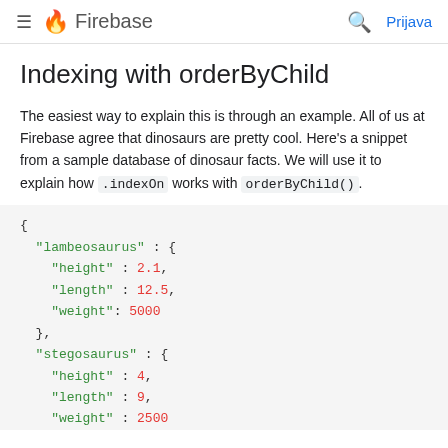≡ 🔥 Firebase  🔍 Prijava
Indexing with orderByChild
The easiest way to explain this is through an example. All of us at Firebase agree that dinosaurs are pretty cool. Here's a snippet from a sample database of dinosaur facts. We will use it to explain how .indexOn works with orderByChild().
{
  "lambeosaurus" : {
    "height" : 2.1,
    "length" : 12.5,
    "weight": 5000
  },
  "stegosaurus" : {
    "height" : 4,
    "length" : 9,
    "weight" : 2500